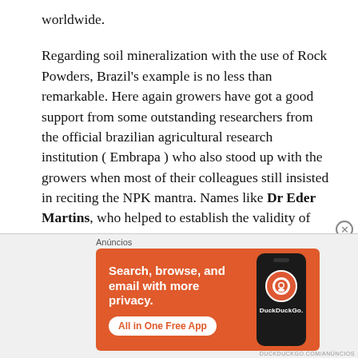worldwide.
Regarding soil mineralization with the use of Rock Powders, Brazil’s example is no less than remarkable. Here again growers have got a good support from some outstanding researchers from the official brazilian agricultural research institution ( Embrapa ) who also stood up with the growers when most of their colleagues still insisted in reciting the NPK mantra. Names like Dr Eder Martins, who helped to establish the validity of this important soil amendment technology among farmers and to scrutinize the
[Figure (screenshot): DuckDuckGo advertisement banner with orange background showing 'Search, browse, and email with more privacy. All in One Free App' text with a phone graphic and DuckDuckGo logo. Labeled 'Anúncios' at top.]